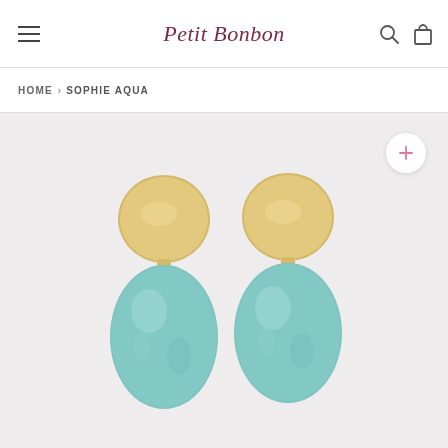Petit Bonbon
HOME › SOPHIE AQUA
[Figure (photo): Product photo of Sophie Aqua earrings: two earrings each consisting of a round matte gold disc on top and a large aqua/teal oval stone pendant below, displayed on a light grey background.]